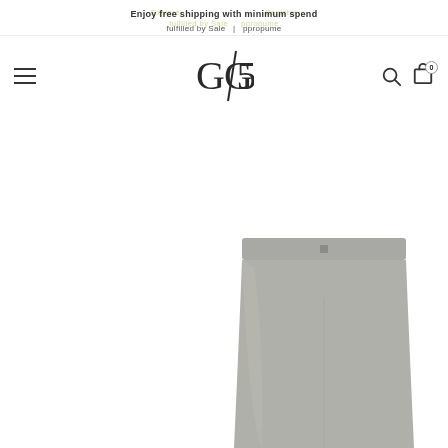Enjoy free shipping with minimum spend | fulfilled by Sale | ppropume | Explore | Register
[Figure (logo): GG/5 brand logo in dark serif letters]
[Figure (photo): Gray high-waisted mini skirt product photo on white background, bottom portion visible]